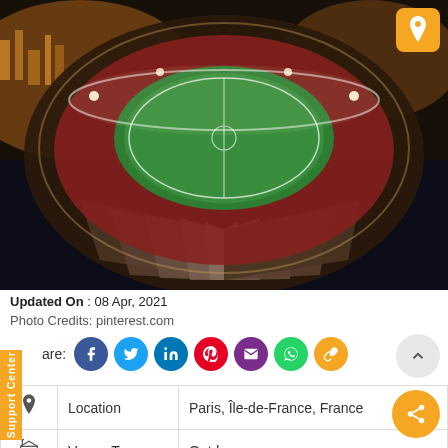[Figure (photo): Aerial night view of a large football stadium with illuminated green pitch, surrounded by city lights. The stadium exterior shows dramatic curved concrete buttresses.]
Updated On : 08 Apr, 2021
Photo Credits: pinterest.com
are:
| 📍 | Location | Paris, Île-de-France, France |
| 🏛 | Venue Type | Outdoor |